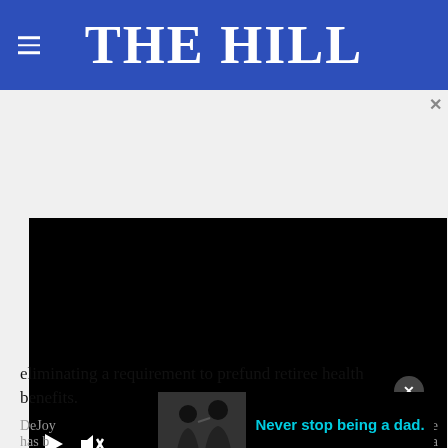THE HILL
[Figure (screenshot): Embedded video player with black screen, play button and mute icon at bottom left, fullscreen expand icon at bottom right]
eliminating a requirement to prefund retiree health benefits.
DeJoy... service has b... a
[Figure (photo): Advertisement banner showing a black and white photo of a man and child with text 'Never stop being a dad.' in cyan/blue on black background]